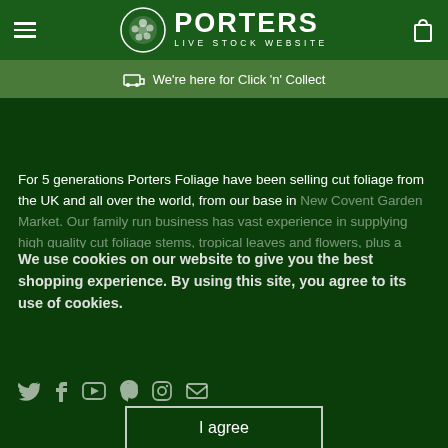PORTERS LIVE STOCK WEBSITE
We're here for Click 'n' Collect
For 5 generations Porters Foliage have been selling cut foliage from the UK and all over the world, from our base in New Covent Garden Market. Our family run business has vast experience in supplying high quality cut foliage stems, tropical leaves and flowers, plus a large range of dried, preserved and bleached products....
We use cookies on our website to give you the best shopping experience. By using this site, you agree to its use of cookies.